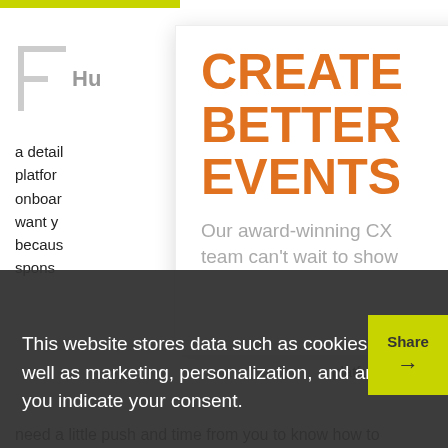Hu [logo]
CREATE BETTER EVENTS
Our award-winning CX team can't wait to show
This website stores data such as cookies to enable essential site functionality, as well as marketing, personalization, and analytics. By remaining on this website you indicate your consent.
Privacy Policy
a detail... platform onboard... y don't want y... t 2 a.m. becaus... ll the sponso... ted CS... ss thi... o virtual
platform
e sessions, ne maximum olders may
need a little push and time from you to know how to